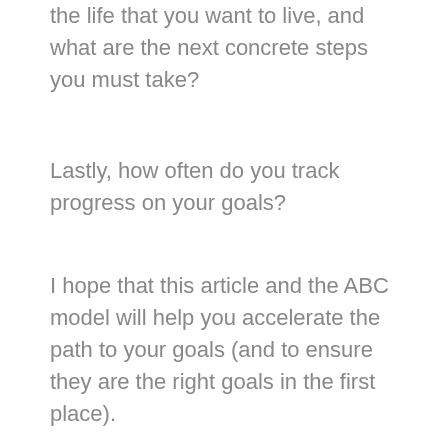That course of action will most likely lead you to the life that you want to live, and what are the next concrete steps you must take?
Lastly, how often do you track progress on your goals?
I hope that this article and the ABC model will help you accelerate the path to your goals (and to ensure they are the right goals in the first place).
* * *
Please email: coach@totallifecomplete.com to discuss how to accelerate your progress and reach your goals.